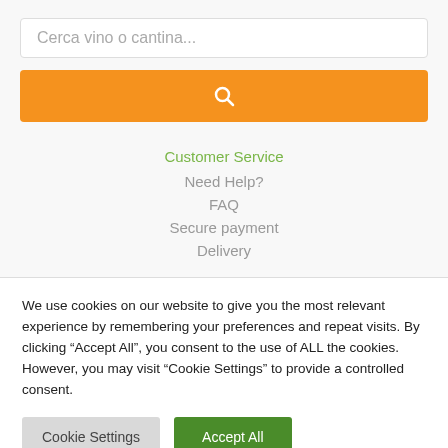[Figure (screenshot): Search input box with placeholder text 'Cerca vino o cantina...']
[Figure (screenshot): Orange search button with magnifying glass icon]
Customer Service
Need Help?
FAQ
Secure payment
Delivery
We use cookies on our website to give you the most relevant experience by remembering your preferences and repeat visits. By clicking “Accept All”, you consent to the use of ALL the cookies. However, you may visit “Cookie Settings” to provide a controlled consent.
Cookie Settings
Accept All